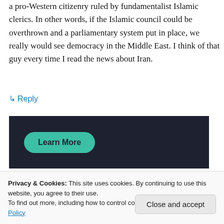a pro-Western citizenry ruled by fundamentalist Islamic clerics. In other words, if the Islamic council could be overthrown and a parliamentary system put in place, we really would see democracy in the Middle East. I think of that guy every time I read the news about Iran.
↳ Reply
[Figure (other): Dark banner ad with a teal rounded 'Learn More' button]
Privacy & Cookies: This site uses cookies. By continuing to use this website, you agree to their use.
To find out more, including how to control cookies, see here: Cookie Policy
Close and accept